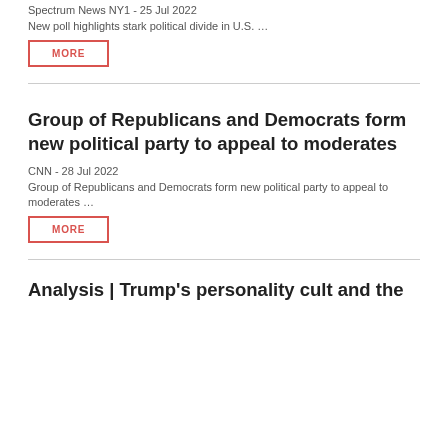Spectrum News NY1 - 25 Jul 2022
New poll highlights stark political divide in U.S.  ...
MORE
Group of Republicans and Democrats form new political party to appeal to moderates
CNN - 28 Jul 2022
Group of Republicans and Democrats form new political party to appeal to moderates  ...
MORE
Analysis | Trump's personality cult and the